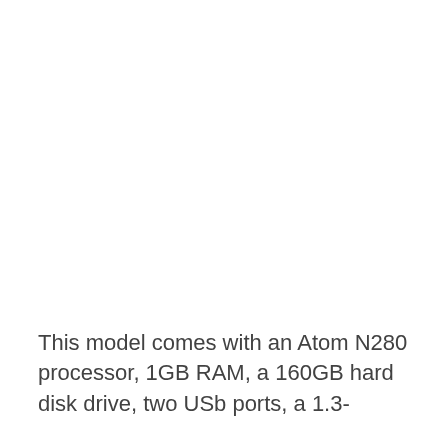This model comes with an Atom N280 processor, 1GB RAM, a 160GB hard disk drive, two USb ports, a 1.3-